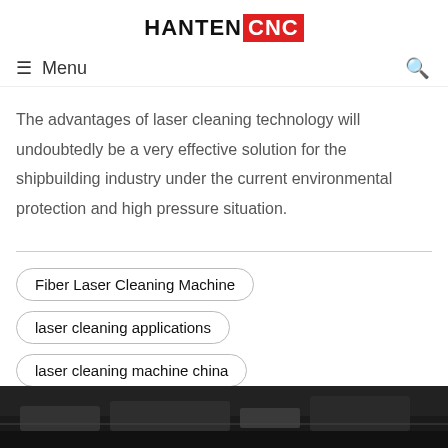HANTEN CNC
≡  Menu
The advantages of laser cleaning technology will undoubtedly be a very effective solution for the shipbuilding industry under the current environmental protection and high pressure situation.
Fiber Laser Cleaning Machine
laser cleaning applications
laser cleaning machine china
laser cleaning machine for rust removal
[Figure (photo): Dark industrial machinery photograph at the bottom of the page]